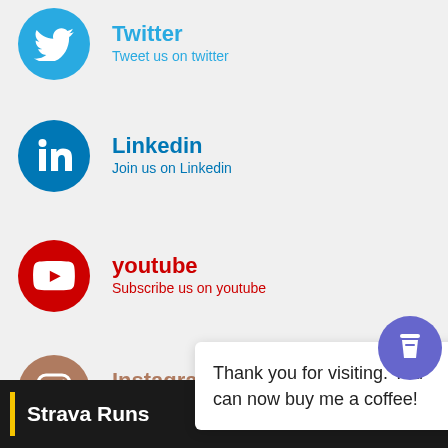Twitter — Tweet us on twitter
Linkedin — Join us on Linkedin
youtube — Subscribe us on youtube
Instagram — Join us on Instagram
[Figure (screenshot): Back to top arrow button (dark square with white chevron up)]
Thank you for visiting. You can now buy me a coffee!
[Figure (illustration): Blue circular coffee cup button]
Strava Runs